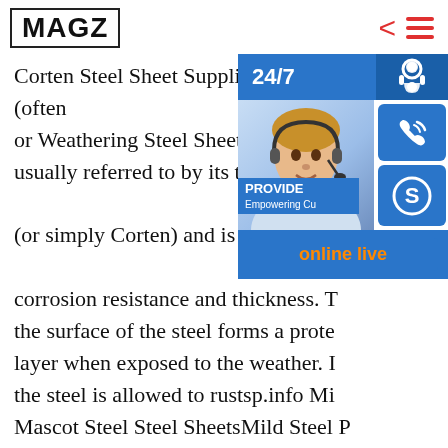MAGZ
[Figure (screenshot): Chat widget overlay with 24/7 support icon, operator photo, phone icon, Skype icon, and online live button]
Corten Steel Sheet Suppliers Australian Steel (often or Weathering Steel Sheets Weathering steel is usually referred to by its trademark name COR-TEN (or simply Corten) and is known for its superior corrosion resistance and thickness. The surface of the steel forms a protective layer when exposed to the weather. If the steel is allowed to rustsp.info Mild Steel Mascot Steel Steel SheetsMild Steel Plates & Sheets Popular Sheet Steel sizes:3mm, 10mm, 6mm, 8mm, 5mm, 20mm, 12mm, 25mm. Sheet metal is used in a range of applications. Some standard sheets can be cold rolled, other sheets are hot rolled. Stainless steel in galvanised form available
[Figure (illustration): Red circular gear/settings button at bottom left]